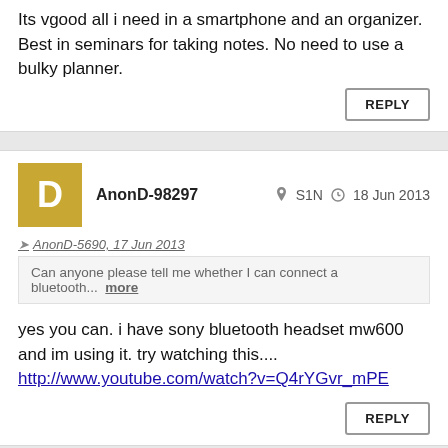Its vgood all i need in a smartphone and an organizer. Best in seminars for taking notes. No need to use a bulky planner.
REPLY
AnonD-98297  S1N  18 Jun 2013
AnonD-5690, 17 Jun 2013
Can anyone please tell me whether I can connect a bluetooth.... more
yes you can. i have sony bluetooth headset mw600 and im using it. try watching this....
http://www.youtube.com/watch?v=Q4rYGvr_mPE
REPLY